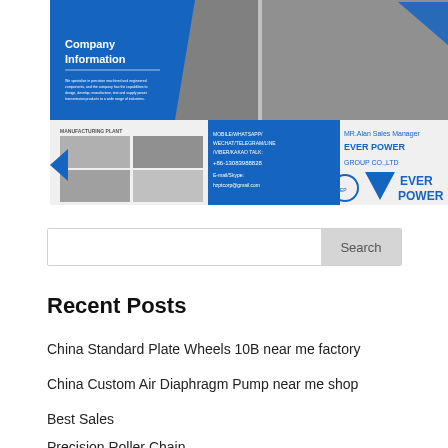[Figure (photo): Company Information banner showing manufacturing plant photos, contact details for MR.Alan Sales Manager at EVER POWER GROUP CO.,LTD, and company logo. Includes images of industrial facilities, blue geometric design elements.]
Search
Recent Posts
China Standard Plate Wheels 10B near me factory
China Custom Air Diaphragm Pump near me shop
Best Sales
Precision Roller Chain